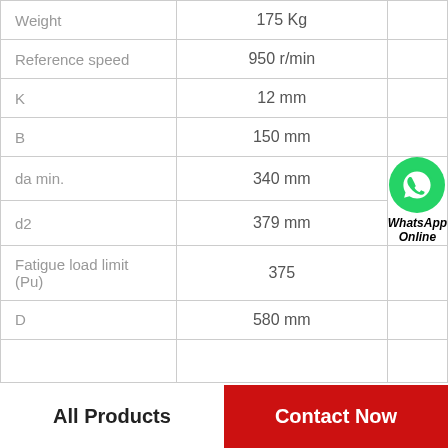| Parameter | Value |
| --- | --- |
| Weight | 175 Kg |
| Reference speed | 950 r/min |
| K | 12 mm |
| B | 150 mm |
| da min. | 340 mm |
| d2 | 379 mm |
| Fatigue load limit (Pu) | 375 |
| D | 580 mm |
|  |  |
All Products
Contact Now